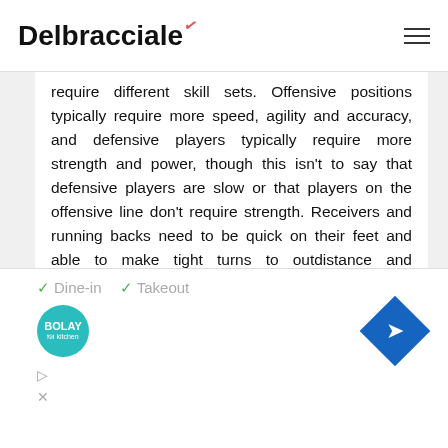Delbracciale
require different skill sets. Offensive positions typically require more speed, agility and accuracy, and defensive players typically require more strength and power, though this isn't to say that defensive players are slow or that players on the offensive line don't require strength. Receivers and running backs need to be quick on their feet and able to make tight turns to outdistance and outmaneuver defensive players, while the quarterback needs a strong and accurate
[Figure (infographic): Advertisement banner showing Bolay restaurant with Dine-in and Takeout checkmarks, Bolay logo, navigation arrow diamond icon, and media controls]